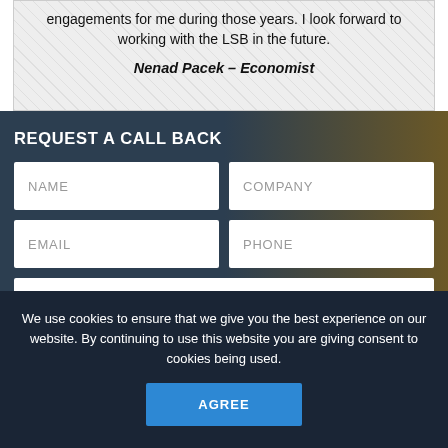engagements for me during those years. I look forward to working with the LSB in the future.
Nenad Pacek – Economist
REQUEST A CALL BACK
NAME
COMPANY
EMAIL
PHONE
REQUEST A SPEAKER
We use cookies to ensure that we give you the best experience on our website. By continuing to use this website you are giving consent to cookies being used.
AGREE